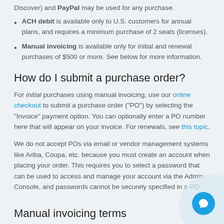ACH debit is available only to U.S. customers for annual plans, and requires a minimum purchase of 2 seats (licenses).
Manual invoicing is available only for initial and renewal purchases of $500 or more. See below for more information.
How do I submit a purchase order?
For initial purchases using manual invoicing, use our online checkout to submit a purchase order ("PO") by selecting the "Invoice" payment option. You can optionally enter a PO number here that will appear on your invoice. For renewals, see this topic.
We do not accept POs via email or vendor management systems like Ariba, Coupa, etc. because you must create an account when placing your order. This requires you to select a password that can be used to access and manage your account via the Admin Console, and passwords cannot be securely specified in a PO.
Manual invoicing terms